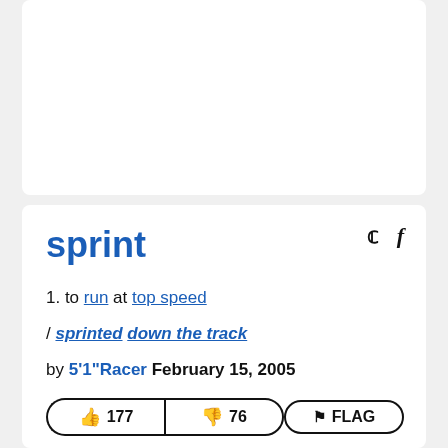sprint
1. to run at top speed
/ sprinted down the track
by 5'1"Racer February 15, 2005